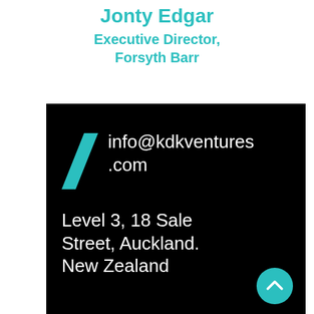Jonty Edgar
Executive Director, Forsyth Barr
info@kdkventures.com
Level 3, 18 Sale Street, Auckland. New Zealand